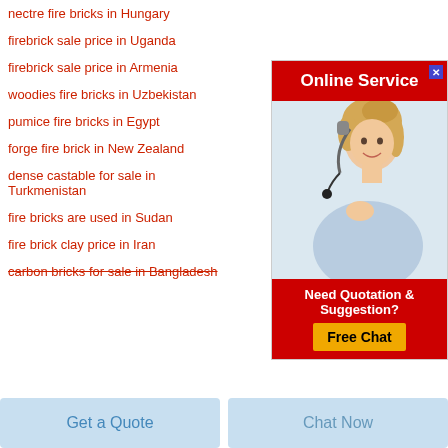nectre fire bricks in Hungary
firebrick sale price in Uganda
firebrick sale price in Armenia
woodies fire bricks in Uzbekistan
pumice fire bricks in Egypt
forge fire brick in New Zealand
dense castable for sale in Turkmenistan
fire bricks are used in Sudan
fire brick clay price in Iran
carbon bricks for sale in Bangladesh
[Figure (infographic): Online Service advertisement widget with red header, photo of a smiling blonde woman with headset, and red bottom section with 'Need Quotation & Suggestion?' text and yellow 'Free Chat' button]
Get a Quote
Chat Now